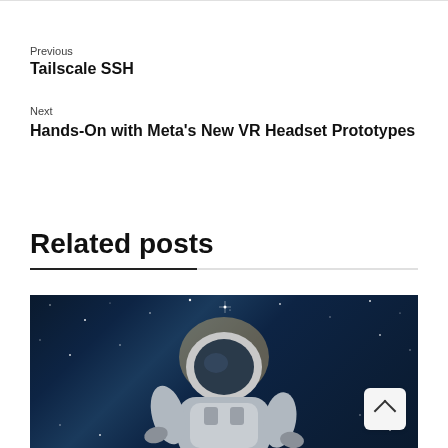Previous
Tailscale SSH
Next
Hands-On with Meta's New VR Headset Prototypes
Related posts
[Figure (photo): Astronaut in space suit floating against a dark starry space background with a bright glowing light source]